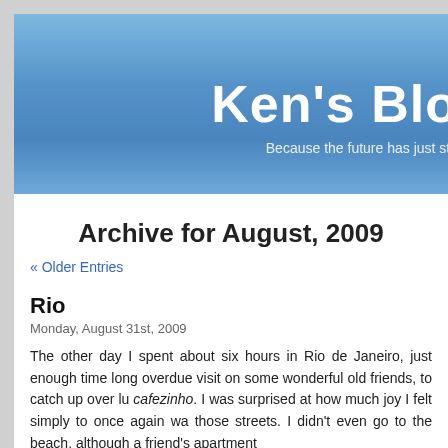Ken's Blo — Because the future has just sta
Archive for August, 2009
« Older Entries
Rio
Monday, August 31st, 2009
The other day I spent about six hours in Rio de Janeiro, just enough time long overdue visit on some wonderful old friends, to catch up over lu cafezinho. I was surprised at how much joy I felt simply to once again wa those streets. I didn't even go to the beach, although a friend's apartment